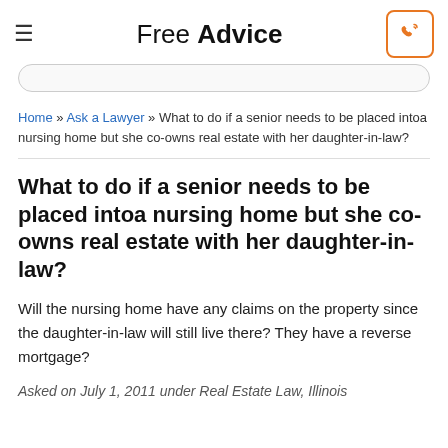Free Advice
Home » Ask a Lawyer » What to do if a senior needs to be placed intoa nursing home but she co-owns real estate with her daughter-in-law?
What to do if a senior needs to be placed intoa nursing home but she co-owns real estate with her daughter-in-law?
Will the nursing home have any claims on the property since the daughter-in-law will still live there? They have a reverse mortgage?
Asked on July 1, 2011 under Real Estate Law, Illinois